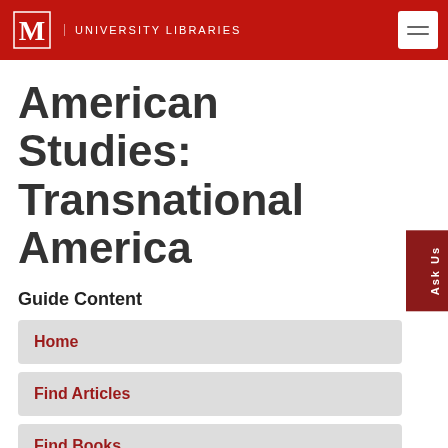Miami University Libraries
American Studies: Transnational America
Guide Content
Home
Find Articles
Find Books
Images/Multimedia
Digital Storytelling